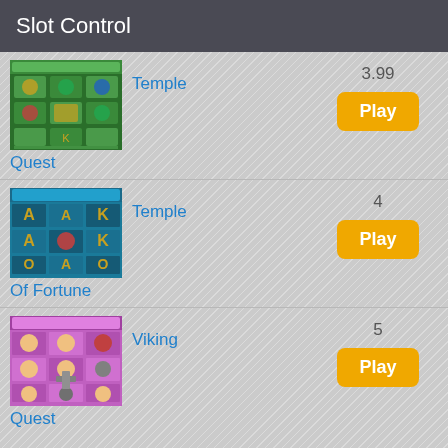Slot Control
[Figure (screenshot): Temple Quest slot machine game screenshot showing jungle temple themed reels]
Temple
Quest
3.99
Play
[Figure (screenshot): Temple Of Fortune slot machine game screenshot showing A, K, Q letter reels on jungle background]
Temple
Of Fortune
4
Play
[Figure (screenshot): Viking Quest slot machine game screenshot showing viking characters on pink/purple background]
Viking
Quest
5
Play